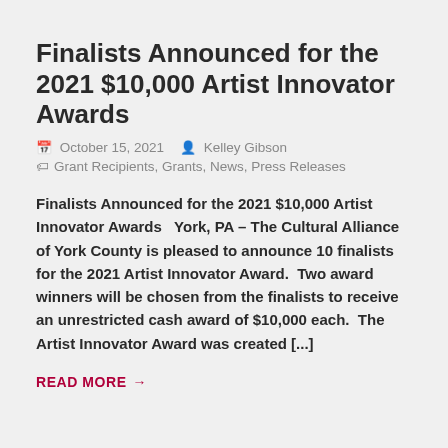Finalists Announced for the 2021 $10,000 Artist Innovator Awards
October 15, 2021   Kelley Gibson
Grant Recipients, Grants, News, Press Releases
Finalists Announced for the 2021 $10,000 Artist Innovator Awards   York, PA – The Cultural Alliance of York County is pleased to announce 10 finalists for the 2021 Artist Innovator Award.  Two award winners will be chosen from the finalists to receive an unrestricted cash award of $10,000 each.  The Artist Innovator Award was created [...]
READ MORE →